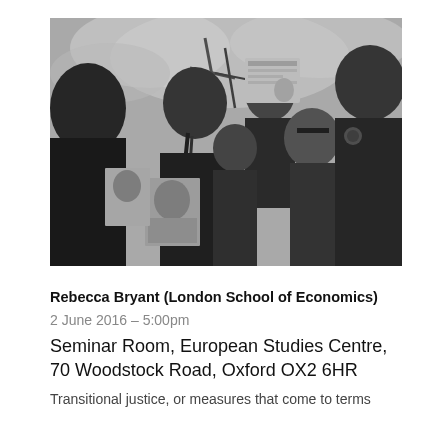[Figure (photo): Black and white photograph of a group of people at what appears to be a protest or memorial gathering. Several individuals hold up photographs and documents. The scene is outdoors with a cloudy sky visible in the background.]
Rebecca Bryant (London School of Economics)
2 June 2016 – 5:00pm
Seminar Room, European Studies Centre, 70 Woodstock Road, Oxford OX2 6HR
Transitional justice, or measures that come to terms